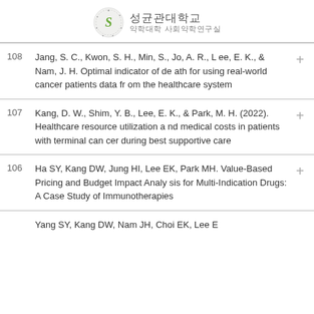성균관대학교 약학대학 사회약학연구실
108 Jang, S. C., Kwon, S. H., Min, S., Jo, A. R., Lee, E. K., & Nam, J. H. Optimal indicator of death for using real-world cancer patients data from the healthcare system
107 Kang, D. W., Shim, Y. B., Lee, E. K., & Park, M. H. (2022). Healthcare resource utilization and medical costs in patients with terminal cancer during best supportive care
106 Ha SY, Kang DW, Jung HI, Lee EK, Park MH. Value-Based Pricing and Budget Impact Analysis for Multi-Indication Drugs: A Case Study of Immunotherapies
Yang SY, Kang DW, Nam JH, Choi EK, Lee E...